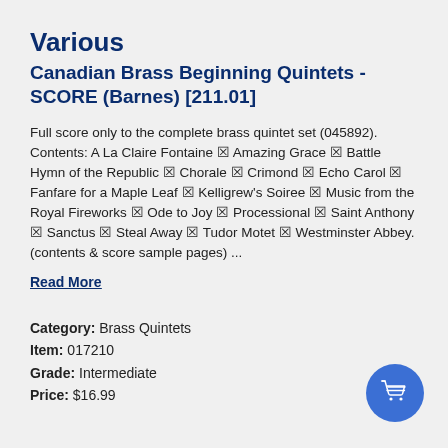Various
Canadian Brass Beginning Quintets - SCORE (Barnes) [211.01]
Full score only to the complete brass quintet set (045892). Contents: A La Claire Fontaine ⊠ Amazing Grace ⊠ Battle Hymn of the Republic ⊠ Chorale ⊠ Crimond ⊠ Echo Carol ⊠ Fanfare for a Maple Leaf ⊠ Kelligrew's Soiree ⊠ Music from the Royal Fireworks ⊠ Ode to Joy ⊠ Processional ⊠ Saint Anthony ⊠ Sanctus ⊠ Steal Away ⊠ Tudor Motet ⊠ Westminster Abbey. (contents & score sample pages) ...
Read More
Category: Brass Quintets
Item: 017210
Grade: Intermediate
Price: $16.99